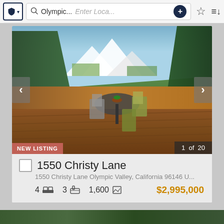[Figure (screenshot): Mobile app toolbar with shield icon, search box showing 'Olympic...', 'Enter Loca...' placeholder with plus button, star icon, and sort icon]
[Figure (photo): Outdoor deck with bistro table and chairs, mountain and forest background, snow-capped peaks visible]
NEW LISTING
1 of 20
1550 Christy Lane
1550 Christy Lane Olympic Valley, California 96146 U...
4 [bed icon] 3 [bath icon] 1,600 [sqft icon] $2,995,000